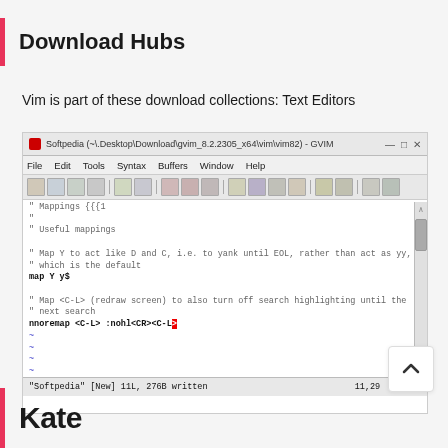Download Hubs
Vim is part of these download collections: Text Editors
[Figure (screenshot): GVIM text editor screenshot showing a Vim configuration file with mappings. The window title reads 'Softpedia (~\.Desktop\Download\gvim_8.2.2305_x64\vim\vim82) - GVIM'. The file content shows commented mappings including 'Mappings {{{1', 'Useful mappings', mapping Y to act like D and C to yank until EOL, and mapping <C-L> to turn off search highlighting. The status bar shows '"Softpedia" [New] 11L, 276B written   11,29   All'.]
Kate